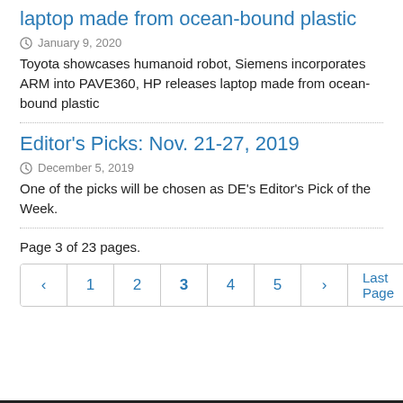laptop made from ocean-bound plastic
January 9, 2020
Toyota showcases humanoid robot, Siemens incorporates ARM into PAVE360, HP releases laptop made from ocean-bound plastic
Editor's Picks: Nov. 21-27, 2019
December 5, 2019
One of the picks will be chosen as DE's Editor's Pick of the Week.
Page 3 of 23 pages.
‹ 1 2 3 4 5 › Last Page